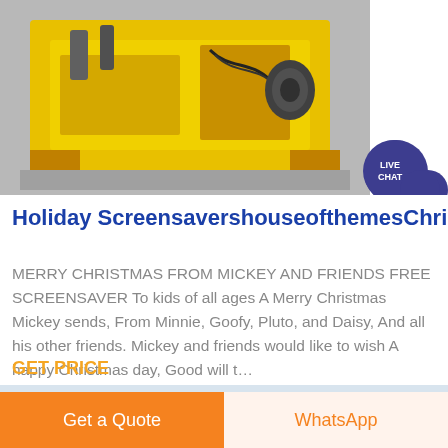[Figure (photo): Yellow industrial machine/hydraulic equipment on a factory floor, partially visible at top of page]
Holiday ScreensavershouseofthemesChrist…
MERRY CHRISTMAS FROM MICKEY AND FRIENDS FREE SCREENSAVER To kids of all ages A Merry Christmas Mickey sends, From Minnie, Goofy, Pluto, and Daisy, And all his other friends. Mickey and friends would like to wish A happy Christmas day, Good will t…
GET PRICE
[Figure (photo): Interior of a large industrial warehouse with steel truss ceiling, lights, and structural supports]
Get a Quote
WhatsApp